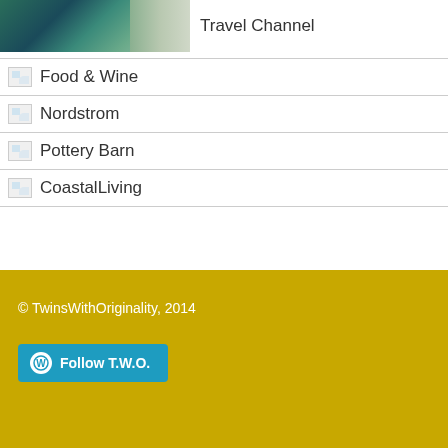[Figure (photo): Coastal/waterway photo showing water with rocks and vegetation, Travel Channel label to the right]
Travel Channel
Food & Wine
Nordstrom
Pottery Barn
CoastalLiving
© TwinsWithOriginality, 2014
Follow T.W.O.